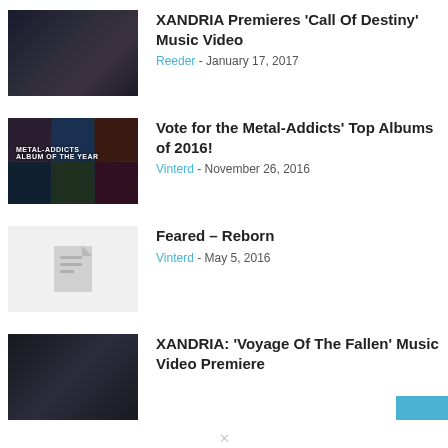XANDRIA Premieres ‘Call Of Destiny’ Music Video | Reeder - January 17, 2017
Vote for the Metal-Addicts’ Top Albums of 2016! | Vinterd - November 26, 2016
Feared – Reborn | Vinterd - May 5, 2016
XANDRIA: ‘Voyage Of The Fallen’ Music Video Premiere